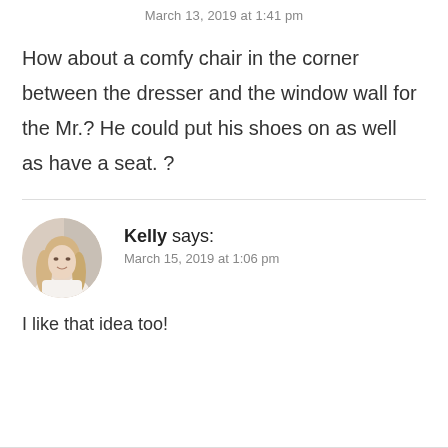March 13, 2019 at 1:41 pm
How about a comfy chair in the corner between the dresser and the window wall for the Mr.? He could put his shoes on as well as have a seat. ?
Kelly says: March 15, 2019 at 1:06 pm
I like that idea too!